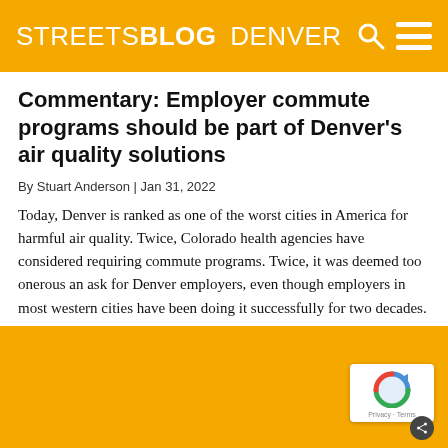STREETSBLOG DENVER
Commentary: Employer commute programs should be part of Denver's air quality solutions
By Stuart Anderson | Jan 31, 2022
Today, Denver is ranked as one of the worst cities in America for harmful air quality. Twice, Colorado health agencies have considered requiring commute programs. Twice, it was deemed too onerous an ask for Denver employers, even though employers in most western cities have been doing it successfully for two decades.
[Figure (other): Gold/yellow background image area below article text, partially visible at bottom of page. Contains a reCAPTCHA badge in the bottom right corner.]